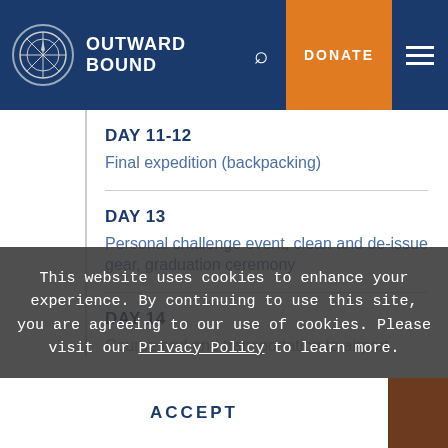OUTWARD BOUND
DAY 11-12
Final expedition (backpacking)
DAY 13
Personal challenge event, clean and de-issue gear, graduation ceremony
DAY 14
Course end and transportation to airport
This website uses cookies to enhance your experience. By continuing to use this site, you are agreeing to our use of cookies. Please visit our Privacy Policy to learn more.
ACCEPT